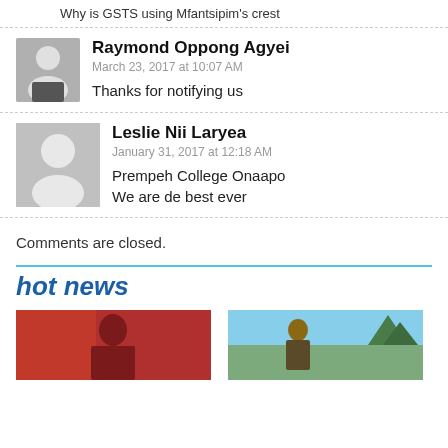Why is GSTS using Mfantsipim's crest
Raymond Oppong Agyei
March 23, 2017 at 10:07 AM
Thanks for notifying us
Leslie Nii Laryea
January 31, 2017 at 12:18 AM
Prempeh College Onaapo
We are de best ever
Comments are closed.
hot news
[Figure (photo): Two news article thumbnail images side by side — left shows a person against a red background, right shows a person outdoors with trees and sky]